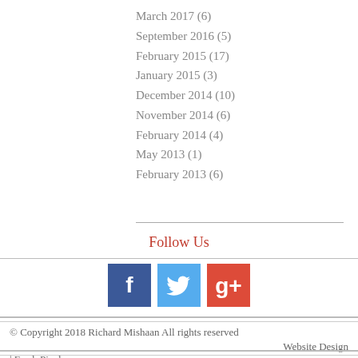March 2017 (6)
September 2016 (5)
February 2015 (17)
January 2015 (3)
December 2014 (10)
November 2014 (6)
February 2014 (4)
May 2013 (1)
February 2013 (6)
Follow Us
[Figure (infographic): Social media icons: Facebook (blue), Twitter (light blue), Google+ (red)]
© Copyright 2018 Richard Mishaan All rights reserved
Website Design | Fresh Pixel